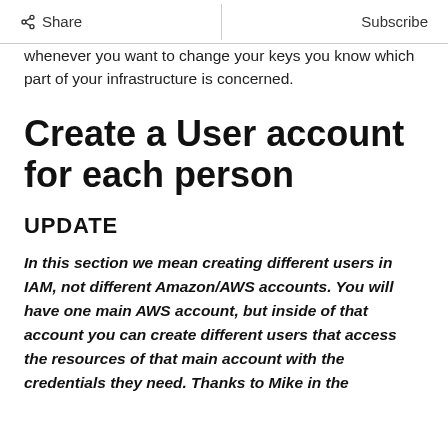Share | Subscribe
whenever you want to change your keys you know which part of your infrastructure is concerned.
Create a User account for each person
UPDATE
In this section we mean creating different users in IAM, not different Amazon/AWS accounts. You will have one main AWS account, but inside of that account you can create different users that access the resources of that main account with the credentials they need. Thanks to Mike in the